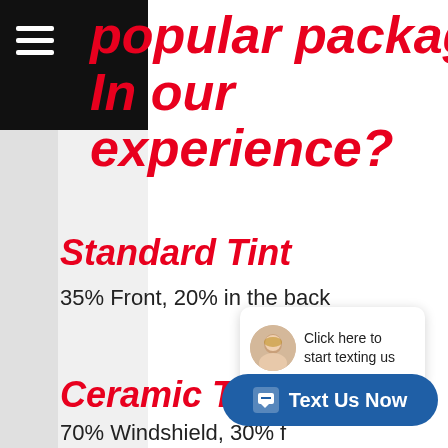popular package, In our experience?
Standard Tint
35% Front, 20% in the back
Ceramic Tint
70% Windshield, 30% fronts and 20%